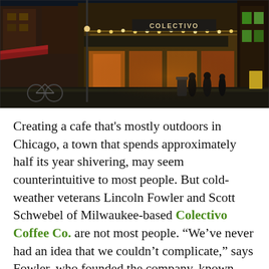[Figure (photo): Night-time exterior photo of Colectivo Coffee cafe in Chicago, showing a corner building with warm string lights, illuminated signage reading COLECTIVO, outdoor seating area, bicycles parked, and people on the sidewalk.]
Creating a cafe that's mostly outdoors in Chicago, a town that spends approximately half its year shivering, may seem counterintuitive to most people. But cold-weather veterans Lincoln Fowler and Scott Schwebel of Milwaukee-based Colectivo Coffee Co. are not most people. “We’ve never had an idea that we couldn’t complicate,” says Fowler, who founded the company, known then as Alterra Coffee, with partners Ward Fowler and Paul Miller in 1993. Their first cafe opening beyond the jokingly-disputed Wisconsin-Illinois border is a roomy Lincoln Park indoor-outdoor space meant to continue the vibes of coffee, community, and outdoor gathering the company’s made work so well in Milwaukee and